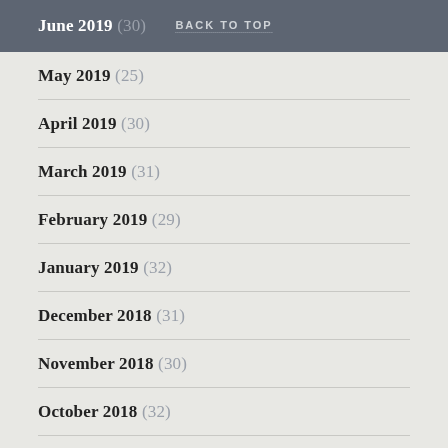June 2019 (30)  BACK TO TOP
May 2019 (25)
April 2019 (30)
March 2019 (31)
February 2019 (29)
January 2019 (32)
December 2018 (31)
November 2018 (30)
October 2018 (32)
September 2018 (31)
August 2018 (31)
July 2018 (30)
June 2018 (30)